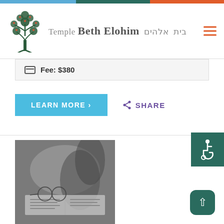Temple Beth Elohim בית אלהים
Fee: $380
LEARN MORE >
SHARE
[Figure (photo): Black and white photo of a person reading a book, with glasses on the table]
[Figure (other): Wheelchair accessibility icon button (dark green background)]
[Figure (other): Scroll to top arrow button (dark green rounded square)]